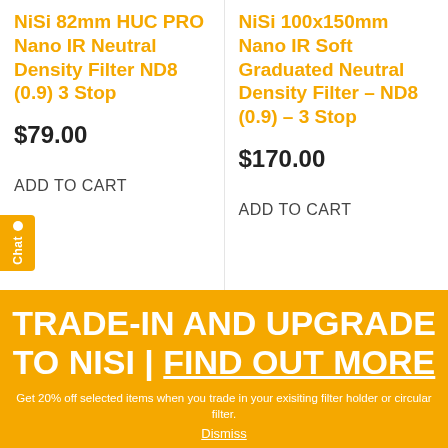NiSi 82mm HUC PRO Nano IR Neutral Density Filter ND8 (0.9) 3 Stop
$79.00
ADD TO CART
NiSi 100x150mm Nano IR Soft Graduated Neutral Density Filter – ND8 (0.9) – 3 Stop
$170.00
ADD TO CART
TRADE-IN AND UPGRADE TO NISI | FIND OUT MORE
Get 20% off selected items when you trade in your exisiting filter holder or circular filter.
Dismiss